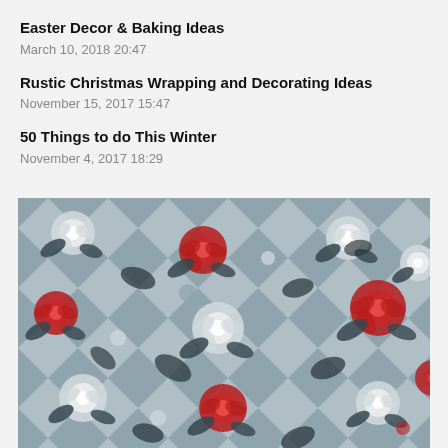Easter Decor & Baking Ideas
March 10, 2018 20:47
Rustic Christmas Wrapping and Decorating Ideas
November 15, 2017 15:47
50 Things to do This Winter
November 4, 2017 18:29
[Figure (illustration): Floral pattern with white and red roses on a dark navy/grey background with a checkered or diamond lattice arrangement. Mix of fully colored red roses and grey-white roses with dark foliage.]